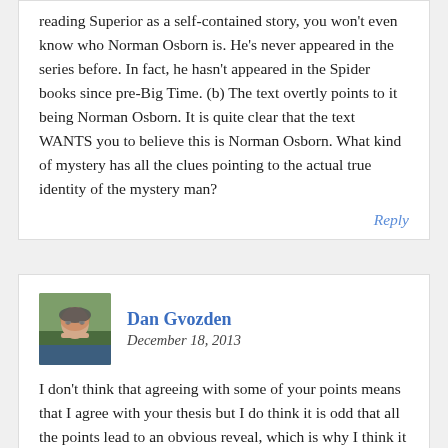reading Superior as a self-contained story, you won't even know who Norman Osborn is. He's never appeared in the series before. In fact, he hasn't appeared in the Spider books since pre-Big Time. (b) The text overtly points to it being Norman Osborn. It is quite clear that the text WANTS you to believe this is Norman Osborn. What kind of mystery has all the clues pointing to the actual true identity of the mystery man?
Reply
Dan Gvozden
December 18, 2013
I don't think that agreeing with some of your points means that I agree with your thesis but I do think it is odd that all the points lead to an obvious reveal, which is why I think it is a bit more